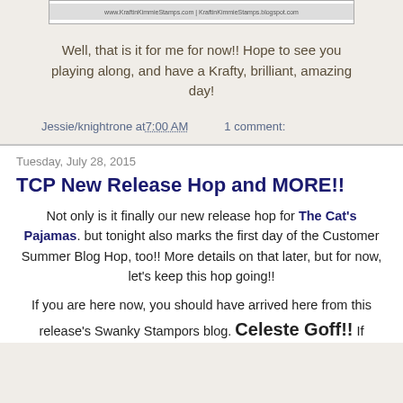[Figure (other): Banner image for KraftinKimmieStamps.com with website URLs]
Well, that is it for me for now!! Hope to see you playing along, and have a Krafty, brilliant, amazing day!
Jessie/knightrone at 7:00 AM    1 comment:
Tuesday, July 28, 2015
TCP New Release Hop and MORE!!
Not only is it finally our new release hop for The Cat's Pajamas. but tonight also marks the first day of the Customer Summer Blog Hop, too!! More details on that later, but for now, let's keep this hop going!!
If you are here now, you should have arrived here from this release's Swanky Stampors blog. Celeste Goff!! If